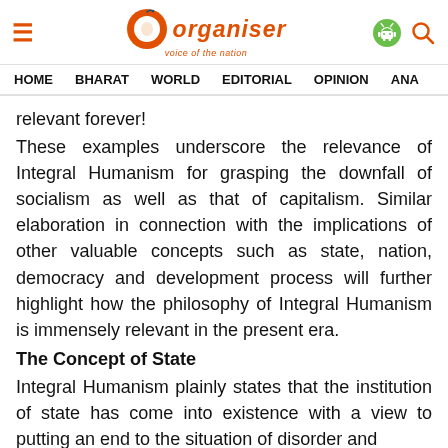Organiser - voice of the nation | HOME  BHARAT  WORLD  EDITORIAL  OPINION  ANA...
relevant forever!
These examples underscore the relevance of Integral Humanism for grasping the downfall of socialism as well as that of capitalism. Similar elaboration in connection with the implications of other valuable concepts such as state, nation, democracy and development process will further highlight how the philosophy of Integral Humanism is immensely relevant in the present era.
The Concept of State
Integral Humanism plainly states that the institution of state has come into existence with a view to putting an end to the situation of disorder and ...